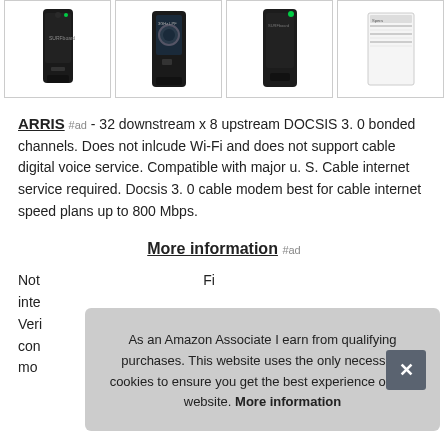[Figure (photo): Row of four product images showing ARRIS cable modems in boxes with borders]
ARRIS #ad - 32 downstream x 8 upstream DOCSIS 3. 0 bonded channels. Does not inlcude Wi-Fi and does not support cable digital voice service. Compatible with major u. S. Cable internet service required. Docsis 3. 0 cable modem best for cable internet speed plans up to 800 Mbps.
More information #ad
Not compatible with... internet... Veri... con... mo...
As an Amazon Associate I earn from qualifying purchases. This website uses the only necessary cookies to ensure you get the best experience on our website. More information